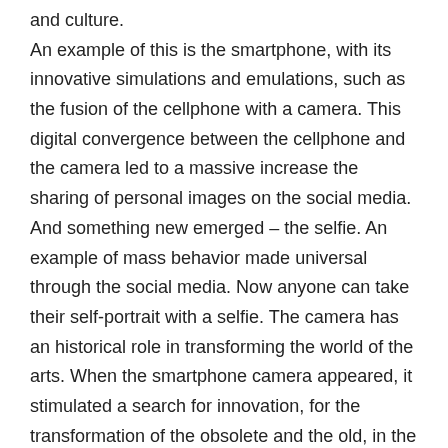and culture. An example of this is the smartphone, with its innovative simulations and emulations, such as the fusion of the cellphone with a camera. This digital convergence between the cellphone and the camera led to a massive increase the sharing of personal images on the social media. And something new emerged – the selfie. An example of mass behavior made universal through the social media. Now anyone can take their self-portrait with a selfie. The camera has an historical role in transforming the world of the arts. When the smartphone camera appeared, it stimulated a search for innovation, for the transformation of the obsolete and the old, in the artistic and cultural vanguards that prevailed as the 19th century became the 20th. Throughout the 20th century, artistic research and manifestos sought innovative means of expression. From the point of view of artistic production, the interdisciplinary relationship between arts and technology led to achievements which have effectively transformed the creative process and the way in which art is